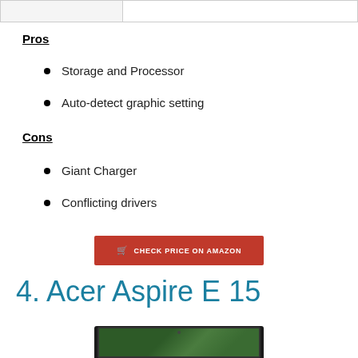|  |  |
| --- | --- |
|  |  |
Pros
Storage and Processor
Auto-detect graphic setting
Cons
Giant Charger
Conflicting drivers
CHECK PRICE ON AMAZON
4. Acer Aspire E 15
[Figure (photo): Bottom portion of a laptop (Acer Aspire E 15) showing the screen with a green/dark background, partially visible at the bottom of the page.]